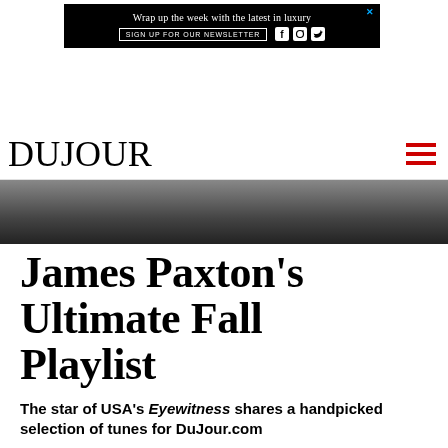[Figure (screenshot): Black advertisement banner: 'Wrap up the week with the latest in luxury' with newsletter sign-up button and social media icons (Facebook, Instagram, Twitter), with a blue X close button]
DUJOUR
[Figure (photo): Black and white photo strip showing partial dark image, likely clothing or leather material]
James Paxton's Ultimate Fall Playlist
The star of USA's Eyewitness shares a handpicked selection of tunes for DuJour.com
Written by Atalie Gimmel
From the... USA Network...